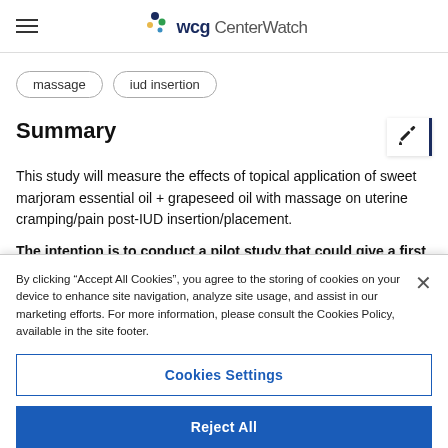WCG CenterWatch
massage
iud insertion
Summary
This study will measure the effects of topical application of sweet marjoram essential oil + grapeseed oil with massage on uterine cramping/pain post-IUD insertion/placement.
The intention is to conduct a pilot study that could give a first look at the data to determine whether this line of research is worth pursuing
By clicking “Accept All Cookies”, you agree to the storing of cookies on your device to enhance site navigation, analyze site usage, and assist in our marketing efforts. For more information, please consult the Cookies Policy, available in the site footer.
Cookies Settings
Reject All